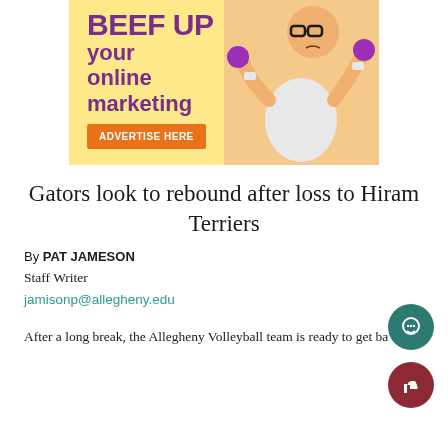[Figure (illustration): Advertisement banner with yellow background showing text 'BEEF UP your online marketing' in purple bold text, an orange 'ADVERTISE HERE' button, and a person lifting purple dumbbells on the right side.]
Gators look to rebound after loss to Hiram Terriers
By PAT JAMESON
Staff Writer
jamisonp@allegheny.edu
After a long break, the Allegheny Volleyball team is ready to get ba